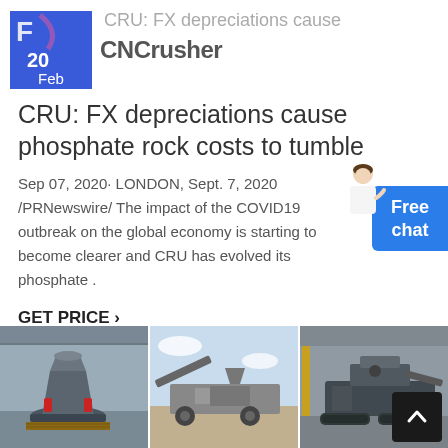20 Feb CNCrusher
CRU: FX depreciations cause phosphate rock costs to tumble
Sep 07, 2020· LONDON, Sept. 7, 2020 /PRNewswire/ The impact of the COVID19 outbreak on the global economy is starting to become clearer and CRU has evolved its phosphate .
GET PRICE ›
[Figure (photo): Three industrial machinery photos side by side: cone crusher machine, mobile crushing plant outdoors, and another industrial crusher machine in a warehouse.]